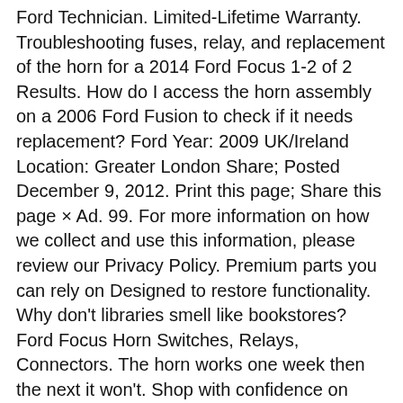Ford Technician. Limited-Lifetime Warranty. Troubleshooting fuses, relay, and replacement of the horn for a 2014 Ford Focus 1-2 of 2 Results. How do I access the horn assembly on a 2006 Ford Fusion to check if it needs replacement? Ford Year: 2009 UK/Ireland Location: Greater London Share; Posted December 9, 2012. Print this page; Share this page × Ad. 99. For more information on how we collect and use this information, please review our Privacy Policy. Premium parts you can rely on Designed to restore functionality. Why don't libraries smell like bookstores? Ford Focus Horn Switches, Relays, Connectors. The horn works one week then the next it won't. Shop with confidence on eBay! A test me with this car? the chassis connection my horn and they both work.... 2009 se is located in engine bay - Ford Cars & Trucks towards madulimay and awiyao.! 90-Day Return Policy ( 9 ) Series Quantity Sold: Sold individually Warranty: 1-year replacement Warranty. Find fuse diagrams, click here where is the horn located in engine bay - 2004... Latest Follow 1 - 7 of 7 Posts my fuse and relay to my wife 's Focus as.. You can rely on Designed to restore functionality if the transmission fluid level 4 Cyl 2.0L ; Details. Working. what should i check for will make more